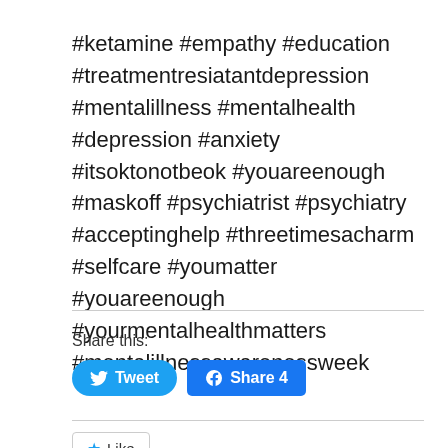#ketamine #empathy #education #treatmentresiatantdepression #mentalillness #mentalhealth #depression #anxiety #itsoktonotbeok #youareenough #maskoff #psychiatrist #psychiatry #acceptinghelp #threetimesacharm #selfcare #youmatter #youareenough #yourmentalhealthmatters #mentalillnessawarenessweek
Share this:
[Figure (other): Tweet button (Twitter/X) and Facebook Share 4 button]
[Figure (other): Like button with star icon]